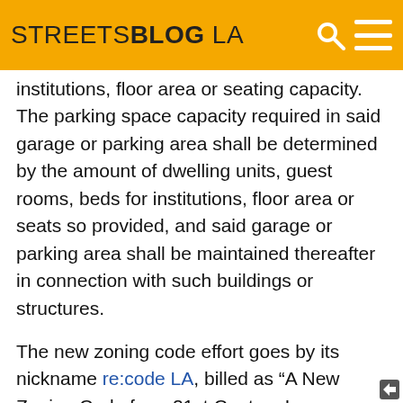STREETSBLOG LA
institutions, floor area or seating capacity.  The parking space capacity required in said garage or parking area shall be determined by the amount of dwelling units, guest rooms, beds for institutions, floor area or seats so provided, and said garage or parking area shall be maintained thereafter in connection with such buildings or structures.
The new zoning code effort goes by its nickname re:code LA, billed as “A New Zoning Code for a 21st Century Los Angeles.” Of the three citywide initiatives, re:code arguably the least comprehensible to the general public and the least far along. The re:code project started in 2013 and is expected to be